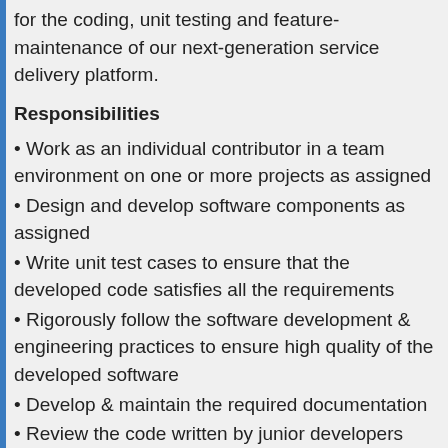for the coding, unit testing and feature-maintenance of our next-generation service delivery platform.
Responsibilities
• Work as an individual contributor in a team environment on one or more projects as assigned
• Design and develop software components as assigned
• Write unit test cases to ensure that the developed code satisfies all the requirements
• Rigorously follow the software development & engineering practices to ensure high quality of the developed software
• Develop & maintain the required documentation
• Review the code written by junior developers and peers for functional and standards compliance
• Setup required development, build servers to support the projects